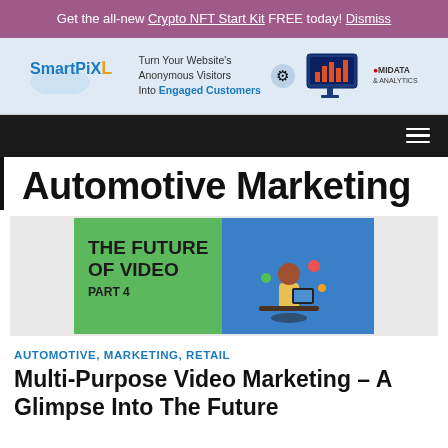Get the all-new Crypto NFT Start Kit FREE today! Dismiss
[Figure (illustration): SmartPixL advertisement banner: 'Turn Your Website's Anonymous Visitors Into Engaged Customers' with monitor graphic and MIDATA & ANALYTICS logo]
[Figure (screenshot): Dark navigation bar with hamburger menu icon on the right]
Automotive Marketing
[Figure (illustration): Article thumbnail: 'THE FUTURE OF VIDEO PART 4' with green and blue background, showing a person working at a computer desk with video production icons]
AUTOMOTIVE, MARKETING, RETAIL
Multi-Purpose Video Marketing – A Glimpse Into The Future